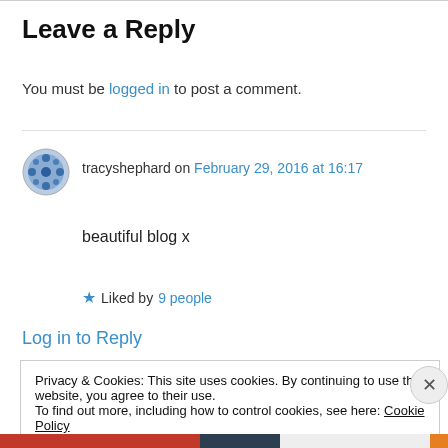Leave a Reply
You must be logged in to post a comment.
tracyshephard on February 29, 2016 at 16:17
beautiful blog x
★ Liked by 9 people
Log in to Reply
Privacy & Cookies: This site uses cookies. By continuing to use this website, you agree to their use.
To find out more, including how to control cookies, see here: Cookie Policy